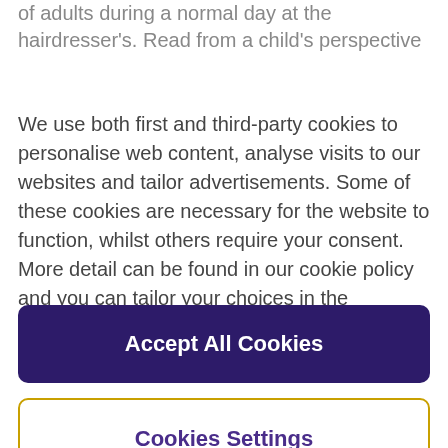of adults during a normal day at the hairdresser's. Read from a child's perspective
We use both first and third-party cookies to personalise web content, analyse visits to our websites and tailor advertisements. Some of these cookies are necessary for the website to function, whilst others require your consent. More detail can be found in our cookie policy and you can tailor your choices in the preference centre.
Accept All Cookies
Cookies Settings